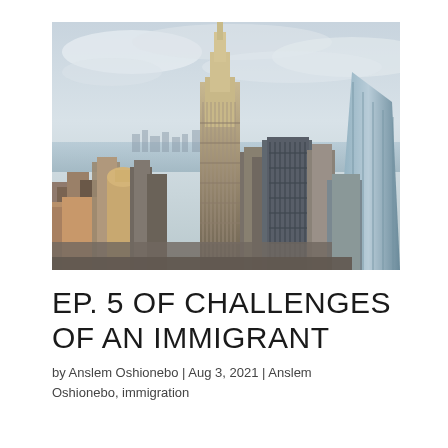[Figure (photo): Aerial photograph of the New York City skyline featuring the Empire State Building prominently in the center, surrounded by numerous skyscrapers, with water and distant cityscape visible in the background under an overcast sky.]
EP. 5 OF CHALLENGES OF AN IMMIGRANT
by Anslem Oshionebo | Aug 3, 2021 | Anslem Oshionebo, immigration